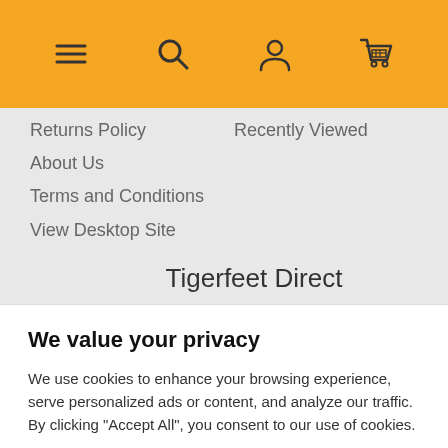[Figure (screenshot): Orange navigation header bar with hamburger menu, search, account, and cart icons]
Returns Policy
Recently Viewed
About Us
Terms and Conditions
View Desktop Site
Tigerfeet Direct
We value your privacy
We use cookies to enhance your browsing experience, serve personalized ads or content, and analyze our traffic. By clicking "Accept All", you consent to our use of cookies.
Accept All
Customize
Reject All